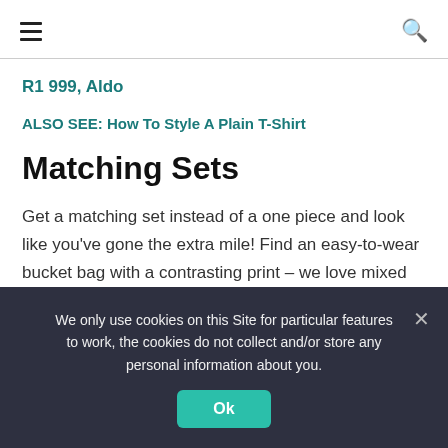≡  🔍
R1 999, Aldo
ALSO SEE: How To Style A Plain T-Shirt
Matching Sets
Get a matching set instead of a one piece and look like you've gone the extra mile! Find an easy-to-wear bucket bag with a contrasting print – we love mixed prints.
We only use cookies on this Site for particular features to work, the cookies do not collect and/or store any personal information about you.